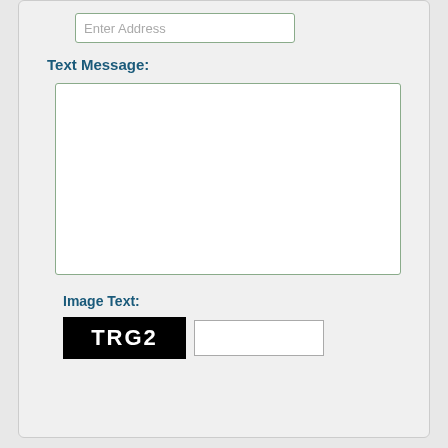[Figure (screenshot): Web form fragment showing an address input field (placeholder 'Enter Address'), a 'Text Message:' label with a large textarea, an 'Image Text:' CAPTCHA label with a black box showing 'TRG2' and a text input field, and a dark red 'Submit' button.]
Enter Address
Text Message:
Image Text:
TRG2
Submit